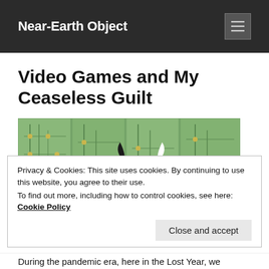Near-Earth Object
Video Games and My Ceaseless Guilt
[Figure (photo): A video game character (Animal Crossing style) wearing a jester hat with black and white coloring and red trim, standing in front of green circuit board panels with yellow dot connectors.]
Privacy & Cookies: This site uses cookies. By continuing to use this website, you agree to their use.
To find out more, including how to control cookies, see here: Cookie Policy
During the pandemic era, here in the Lost Year, we